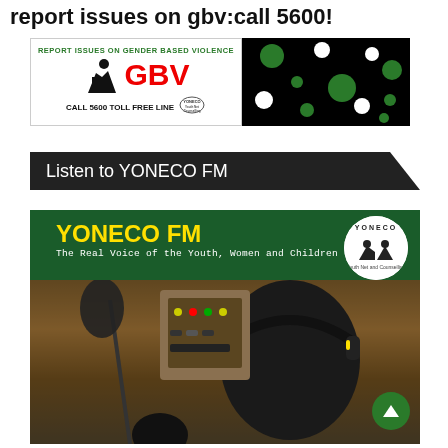report issues on gbv:call 5600!
[Figure (infographic): GBV awareness banner with silhouette icon, red GBV text, green subtitle 'REPORT ISSUES ON GENDER BASED VIOLENCE', 'CALL 5600 TOLL FREE LINE', YONECO logo, and black panel with green and white dots]
Listen to YONECO FM
[Figure (photo): YONECO FM promotional image showing a young person with headphones at a radio studio microphone, green background with yellow YONECO FM text and tagline 'The Real Voice of the Youth, Women and Children', circular YONECO Youth Net and Counselling logo, dark green circle with upward arrow scroll button]